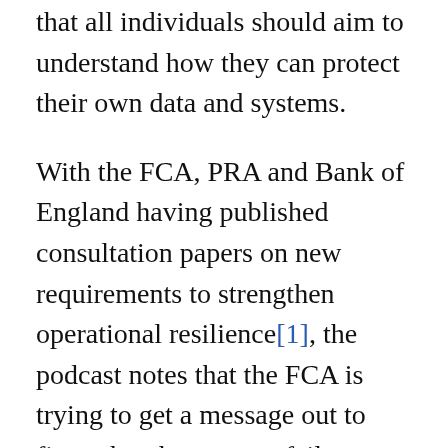that all individuals should aim to understand how they can protect their own data and systems.
With the FCA, PRA and Bank of England having published consultation papers on new requirements to strengthen operational resilience[1], the podcast notes that the FCA is trying to get a message out to firms that they accept failure can occur but would rather that organisations understood where that is most likely to happen and prepare for it. In light of this, the consultation paper sets out key concepts looking at whether organisations understand their business, what the important